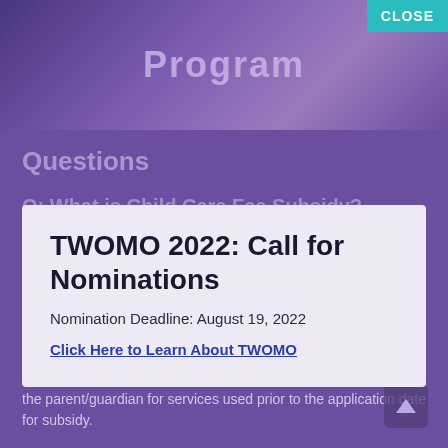Program
Questions
Q: What is Child Care Fee Subsidy?
A: Fee subsidy or subsidized child care can help you with the cost of care for children between the ages of 0-12. Those who can apply are the child's parent or legal guardian also must live in the District of Thunder Bay and be engaged in an approved activity. If a family chooses to start in a child care program before fee subsidy is approved, the full cost of care is the responsibility of the parent/guardian for services used prior to the application date for subsidy.
TWOMO 2022: Call for Nominations
Nomination Deadline: August 19, 2022
Click Here to Learn About TWOMO